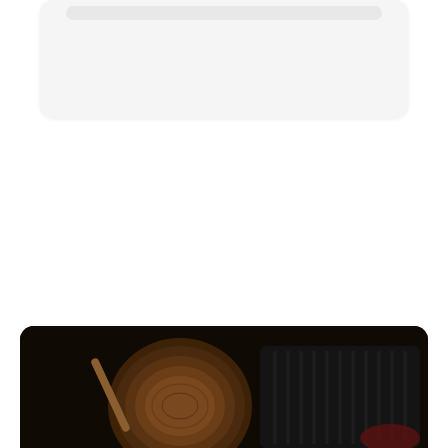[Figure (screenshot): Top UI card element with a rounded rectangle and a bar element, partially visible, suggesting a web or app interface card]
Toto Review – Is Toto the Best Online Cas...
Slot online – Treasure By The Gamblers
[Figure (photo): Dark background photo showing wooden board, chopsticks, and dark cooking pan, partially visible at bottom of screen]